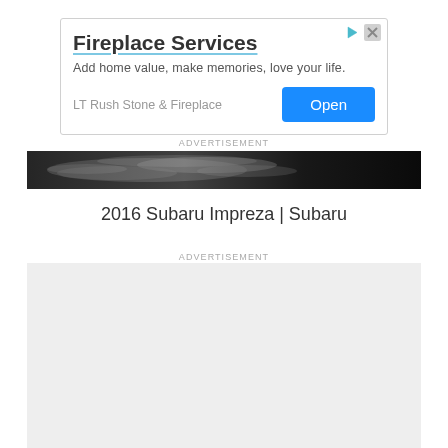[Figure (infographic): Advertisement box for Fireplace Services by LT Rush Stone & Fireplace with title, tagline, and Open button]
ADVERTISEMENT
[Figure (photo): Dark banner advertisement image with watery/splashing texture, dark background]
2016 Subaru Impreza | Subaru
ADVERTISEMENT
[Figure (other): Light gray advertisement placeholder box]